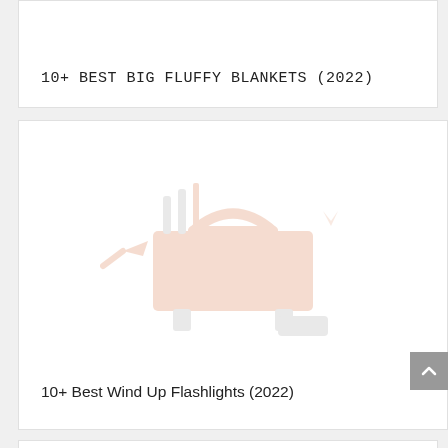10+ BEST BIG FLUFFY BLANKETS (2022)
[Figure (illustration): Faded/watermark illustration of a toolbox or portable grill with tools, orange and gray tones]
10+ Best Wind Up Flashlights (2022)